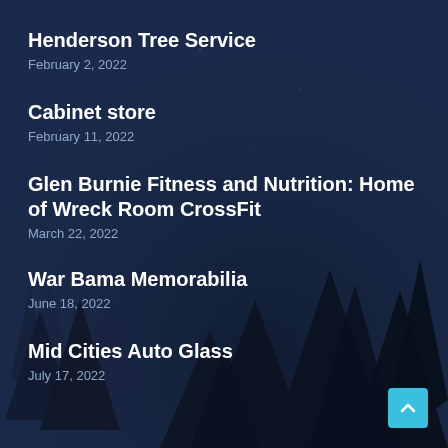Henderson Tree Service
February 2, 2022
Cabinet store
February 11, 2022
Glen Burnie Fitness and Nutrition: Home of Wreck Room CrossFit
March 22, 2022
War Bama Memorabilia
June 18, 2022
Mid Cities Auto Glass
July 17, 2022